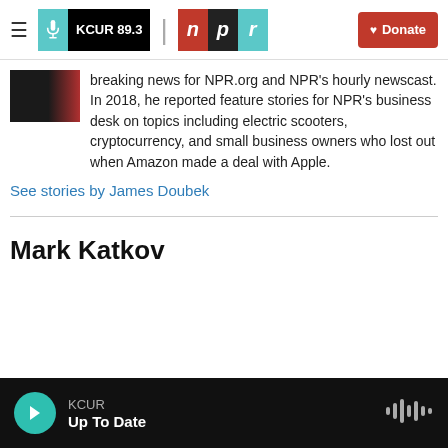KCUR 89.3 | npr | Donate
[Figure (screenshot): Partial thumbnail image of a person]
breaking news for NPR.org and NPR's hourly newscast. In 2018, he reported feature stories for NPR's business desk on topics including electric scooters, cryptocurrency, and small business owners who lost out when Amazon made a deal with Apple.
See stories by James Doubek
Mark Katkov
KCUR Up To Date